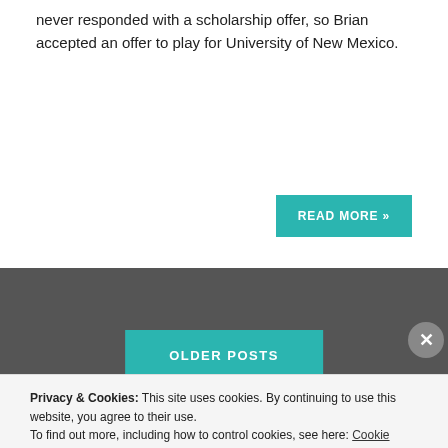never responded with a scholarship offer, so Brian accepted an offer to play for University of New Mexico.
READ MORE »
OLDER POSTS
Privacy & Cookies: This site uses cookies. By continuing to use this website, you agree to their use.
To find out more, including how to control cookies, see here: Cookie Policy
Close and accept